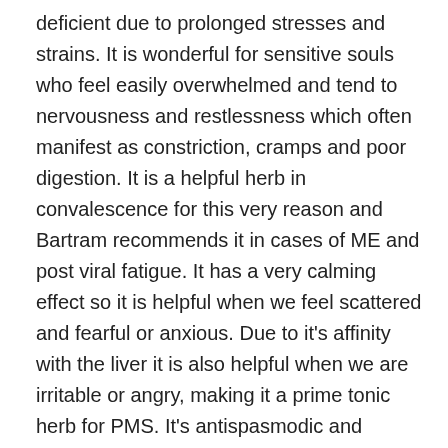deficient due to prolonged stresses and strains. It is wonderful for sensitive souls who feel easily overwhelmed and tend to nervousness and restlessness which often manifest as constriction, cramps and poor digestion. It is a helpful herb in convalescence for this very reason and Bartram recommends it in cases of ME and post viral fatigue. It has a very calming effect so it is helpful when we feel scattered and fearful or anxious. Due to it's affinity with the liver it is also helpful when we are irritable or angry, making it a prime tonic herb for PMS. It's antispasmodic and calming actions help to soothe menstrual cramps and its cleansing effect on the liver helps to flush out hormones whilst increased bile flow from the gallbladder aids in bowel function and elimination. It is often used in cases of hormonal headaches due to these same effects. It helps to open and move congestion which